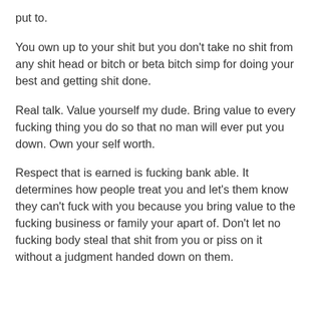put to.
You own up to your shit but you don't take no shit from any shit head or bitch or beta bitch simp for doing your best and getting shit done.
Real talk. Value yourself my dude. Bring value to every fucking thing you do so that no man will ever put you down. Own your self worth.
Respect that is earned is fucking bank able. It determines how people treat you and let's them know they can't fuck with you because you bring value to the fucking business or family your apart of. Don't let no fucking body steal that shit from you or piss on it without a judgment handed down on them.